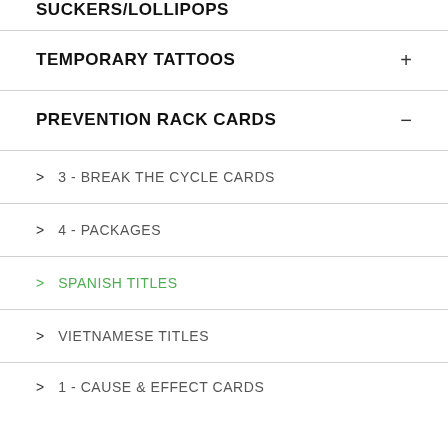SUCKERS/LOLLIPOPS
TEMPORARY TATTOOS
PREVENTION RACK CARDS
> 3 - BREAK THE CYCLE CARDS
> 4 - PACKAGES
> SPANISH TITLES
> VIETNAMESE TITLES
> 1 - CAUSE & EFFECT CARDS